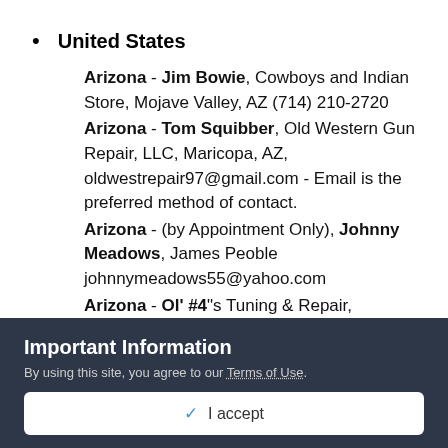United States
Arizona - Jim Bowie, Cowboys and Indian Store, Mojave Valley, AZ (714) 210-2720
Arizona - Tom Squibber, Old Western Gun Repair, LLC, Maricopa, AZ, oldwestrepair97@gmail.com - Email is the preferred method of contact.
Arizona - (by Appointment Only), Johnny Meadows, James Peoble johnnymeadows55@yahoo.com
Arizona - Ol' #4"s Tuning & Repair, Tucson, AZ...
Important Information
By using this site, you agree to our Terms of Use.
✓  I accept